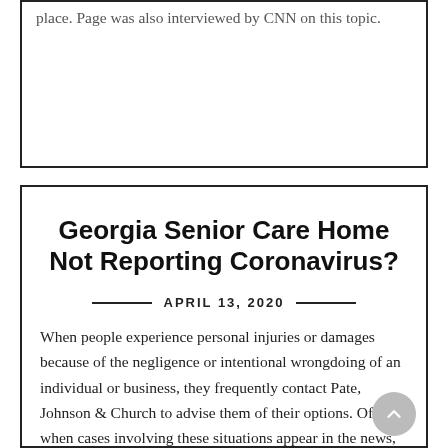place. Page was also interviewed by CNN on this topic.
Georgia Senior Care Home Not Reporting Coronavirus?
APRIL 13, 2020
When people experience personal injuries or damages because of the negligence or intentional wrongdoing of an individual or business, they frequently contact Pate, Johnson & Church to advise them of their options. Often, when cases involving these situations appear in the news, the media will